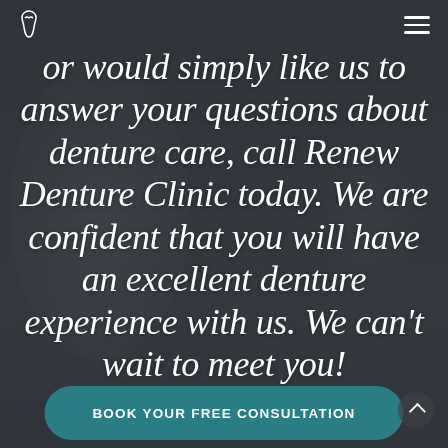[logo icon] [hamburger menu]
or would simply like us to answer your questions about denture care, call Renew Denture Clinic today. We are confident that you will have an excellent denture experience with us. We can't wait to meet you!
BOOK YOUR FREE CONSULTATION